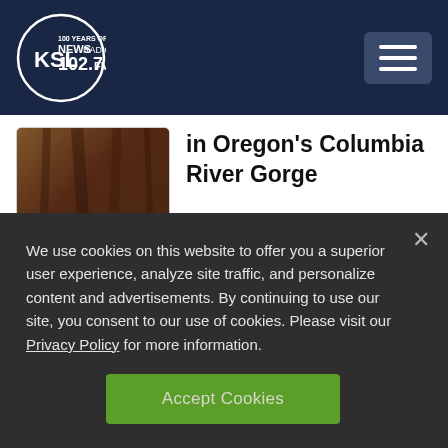KSL NewsRadio 102.7FM
in Oregon's Columbia River Gorge
UPDATE: Search and rescue mission conducted at Zion National Park
We use cookies on this website to offer you a superior user experience, analyze site traffic, and personalize content and advertisements. By continuing to use our site, you consent to our use of cookies. Please visit our Privacy Policy for more information.
Accept Cookies